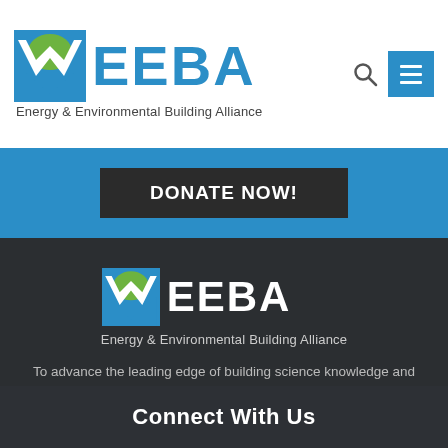[Figure (logo): EEBA – Energy & Environmental Building Alliance logo with X/checkmark icon in blue and green, top-left header]
[Figure (logo): Search icon (magnifying glass) and hamburger menu button (blue square with three white lines)]
DONATE NOW!
[Figure (logo): EEBA – Energy & Environmental Building Alliance logo, white version on dark background, footer]
To advance the leading edge of building science knowledge and sustainable business practices in the residential construction community through education, sharing and collaboration.
Connect With Us